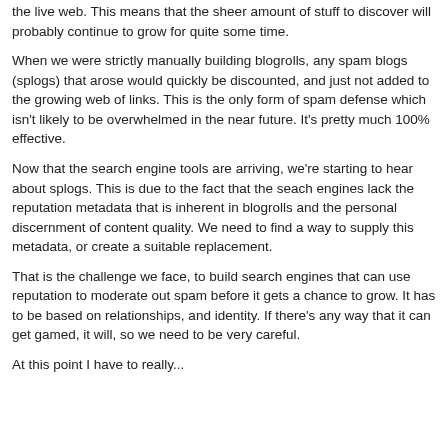the live web. This means that the sheer amount of stuff to discover will probably continue to grow for quite some time.
When we were strictly manually building blogrolls, any spam blogs (splogs) that arose would quickly be discounted, and just not added to the growing web of links. This is the only form of spam defense which isn't likely to be overwhelmed in the near future. It's pretty much 100% effective.
Now that the search engine tools are arriving, we're starting to hear about splogs. This is due to the fact that the seach engines lack the reputation metadata that is inherent in blogrolls and the personal discernment of content quality. We need to find a way to supply this metadata, or create a suitable replacement.
That is the challenge we face, to build search engines that can use reputation to moderate out spam before it gets a chance to grow. It has to be based on relationships, and identity. If there's any way that it can get gamed, it will, so we need to be very careful.
At this point I have to really...